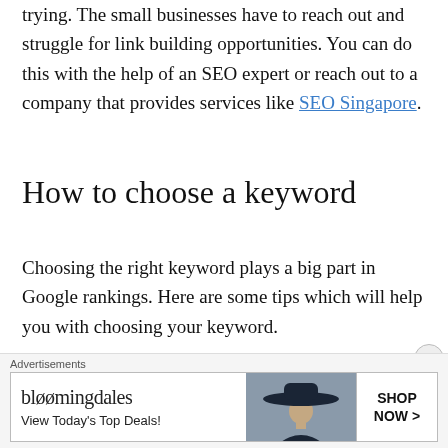trying. The small businesses have to reach out and struggle for link building opportunities. You can do this with the help of an SEO expert or reach out to a company that provides services like SEO Singapore.
How to choose a keyword
Choosing the right keyword plays a big part in Google rankings. Here are some tips which will help you with choosing your keyword.
Identify your target customers and think about what phrases they would type in Google if they
[Figure (other): Bloomingdale's advertisement banner with logo, 'View Today's Top Deals!' tagline, a woman in a wide-brim hat, and a 'SHOP NOW >' button]